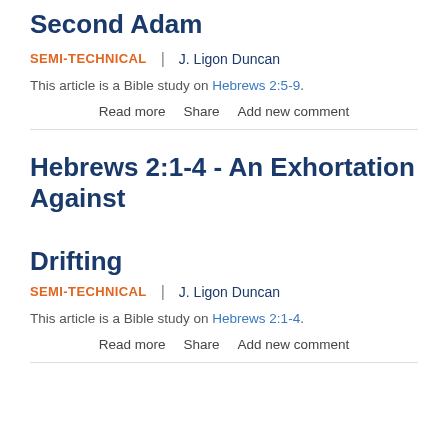Second Adam
SEMI-TECHNICAL | J. Ligon Duncan
This article is a Bible study on Hebrews 2:5-9.
Read more   Share   Add new comment
Hebrews 2:1-4 - An Exhortation Against Drifting
SEMI-TECHNICAL | J. Ligon Duncan
This article is a Bible study on Hebrews 2:1-4.
Read more   Share   Add new comment